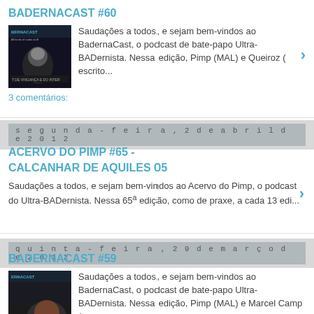BADERNACAST #60
[Figure (photo): Thumbnail image for Badernacast podcast with dark background and masked figure]
Saudações a todos, e sejam bem-vindos ao BadernaCast, o podcast de bate-papo Ultra-BADernista. Nessa edição, Pimp (MAL) e Queiroz ( escrito...
3 comentários:
segunda-feira, 2 de abril de 2012
ACERVO DO PIMP #65 - CALCANHAR DE AQUILES 05
Saudações a todos, e sejam bem-vindos ao Acervo do Pimp, o podcast do Ultra-BADernista. Nessa 65ª edição, como de praxe, a cada 13 edi...
quinta-feira, 29 de março de 2012
BADERNACAST #59
[Figure (photo): Thumbnail image for Badernacast #59 podcast]
Saudações a todos, e sejam bem-vindos ao BadernaCast, o podcast de bate-papo Ultra-BADernista. Nessa edição, Pimp (MAL) e Marcel Camp ( vem